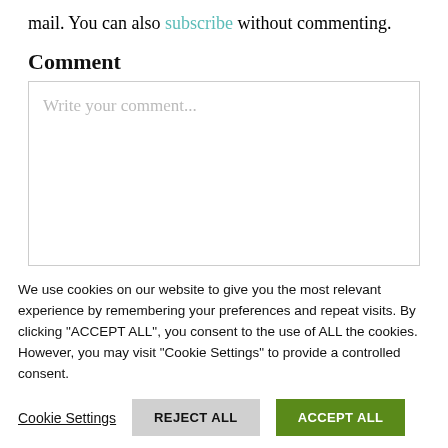mail. You can also subscribe without commenting.
Comment
Write your comment...
We use cookies on our website to give you the most relevant experience by remembering your preferences and repeat visits. By clicking “ACCEPT ALL”, you consent to the use of ALL the cookies. However, you may visit "Cookie Settings" to provide a controlled consent.
Cookie Settings
REJECT ALL
ACCEPT ALL